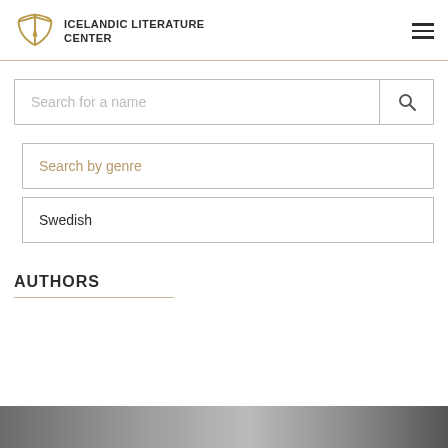ICELANDIC LITERATURE CENTER
Search for a name
Search by genre
Swedish
AUTHORS
[Figure (photo): Grayscale photo strip at the bottom of the page, partially visible]